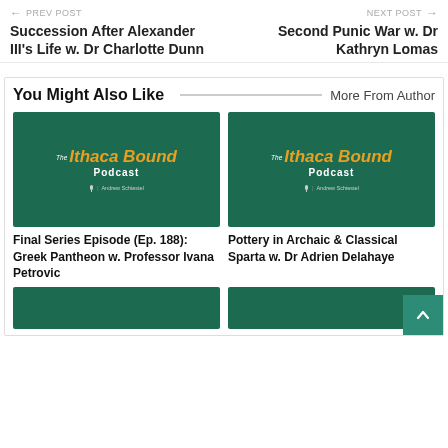← PREV POST | NEXT POST →
Succession After Alexander III's Life w. Dr Charlotte Dunn
Second Punic War w. Dr Kathryn Lomas
You Might Also Like
More From Author
[Figure (illustration): The Ithaca Bound Podcast thumbnail with dark green background, orange italic title text and host name Andrew Schiestel]
[Figure (illustration): The Ithaca Bound Podcast thumbnail with dark green background, orange italic title text and host name Andrew Schiestel]
Final Series Episode (Ep. 188): Greek Pantheon w. Professor Ivana Petrovic
Pottery in Archaic & Classical Sparta w. Dr Adrien Delahaye
[Figure (illustration): The Ithaca Bound Podcast thumbnail partial, dark green background]
[Figure (illustration): The Ithaca Bound Podcast thumbnail partial, dark green background]